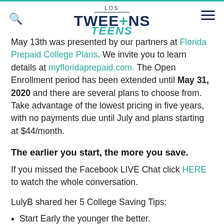LOS TWEENS + TEENS (logo)
May 13th was presented by our partners at Florida Prepaid College Plans. We invite you to learn details at myfloridaprepaid.com. The Open Enrollment period has been extended until May 31, 2020 and there are several plans to choose from. Take advantage of the lowest pricing in five years, with no payments due until July and plans starting at $44/month.
The earlier you start, the more you save.
If you missed the Facebook LIVE Chat click HERE to watch the whole conversation.
LulyB shared her 5 College Saving Tips:
Start Early the younger the better.